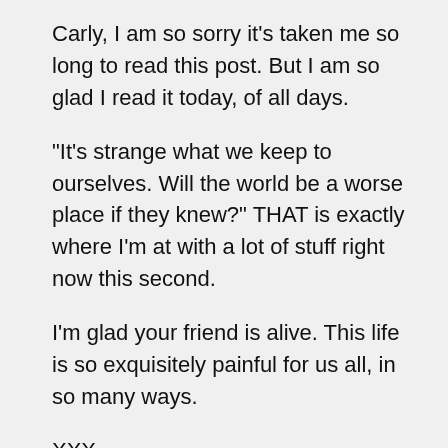Carly, I am so sorry it's taken me so long to read this post. But I am so glad I read it today, of all days.
"It's strange what we keep to ourselves. Will the world be a worse place if they knew?" THAT is exactly where I'm at with a lot of stuff right now this second.
I'm glad your friend is alive. This life is so exquisitely painful for us all, in so many ways.
XXX